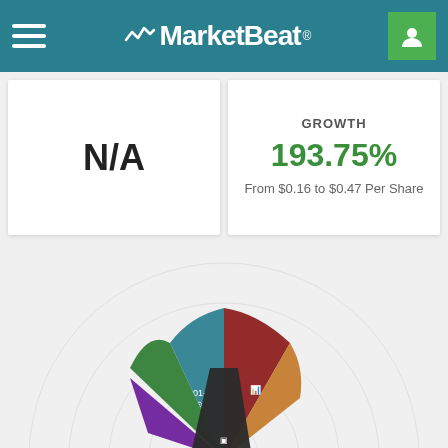MarketBeat
N/A
GROWTH
193.75%
From $0.16 to $0.47 Per Share
[Figure (radar-chart): A radar/spider chart showing multiple colored segments representing different financial metrics. Segments include teal, dark red/maroon, green, purple, dark/black, and orange/brown colored sections arranged in a radial pattern with concentric circle gridlines in the background.]